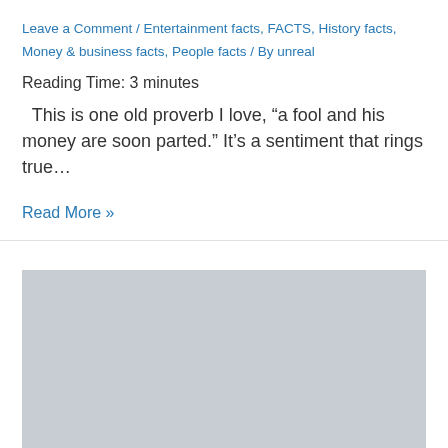Leave a Comment / Entertainment facts, FACTS, History facts, Money & business facts, People facts / By unreal
Reading Time: 3 minutes
This is one old proverb I love, “a fool and his money are soon parted.” It’s a sentiment that rings true…
Read More »
[Figure (other): Gray placeholder image block]